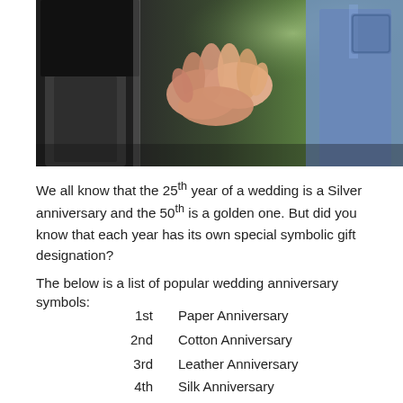[Figure (photo): A couple holding hands outdoors, close-up of their intertwined hands, dark clothing on left, jeans on right, green bokeh background.]
We all know that the 25th year of a wedding is a Silver anniversary and the 50th is a golden one. But did you know that each year has its own special symbolic gift designation?
The below is a list of popular wedding anniversary symbols:
1st  Paper Anniversary
2nd  Cotton Anniversary
3rd  Leather Anniversary
4th  Silk Anniversary
5th  Wood Anniversary
6th  Iron Anniversary